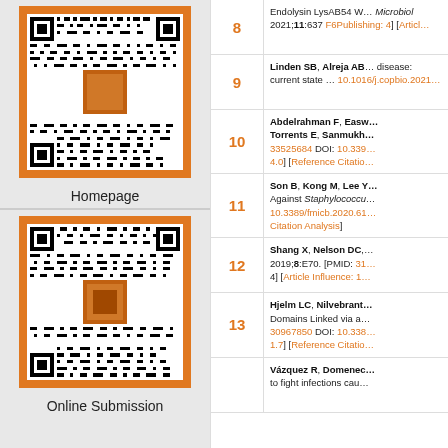[Figure (other): QR code with orange border and small author photo in center, linking to Homepage]
Homepage
[Figure (other): QR code with orange border and small author photo in center, linking to Online Submission]
Online Submission
8 — Endolysin LysAB54 W... Microbiol 2021;11:637 F6Publishing: 4] [Articl...
9 — Linden SB, Alreja AB... disease: current state 10.1016/j.copbio.2021...
10 — Abdelrahman F, Easw... Torrents E, Sanmukh... 33525684 DOI: 10.339... 4.0] [Reference Citatio...
11 — Son B, Kong M, Lee Y... Against Staphylococcu... 10.3389/fmicb.2020.61... Citation Analysis]
12 — Shang X, Nelson DC... 2019;8:E70. [PMID: 31... 4] [Article Influence: 1...
13 — Hjelm LC, Nilvebrant... Domains Linked via a... 30967850 DOI: 10.338... 1.7] [Reference Citatio...
14 — Vázquez R, Domenec... to fight infections cau...